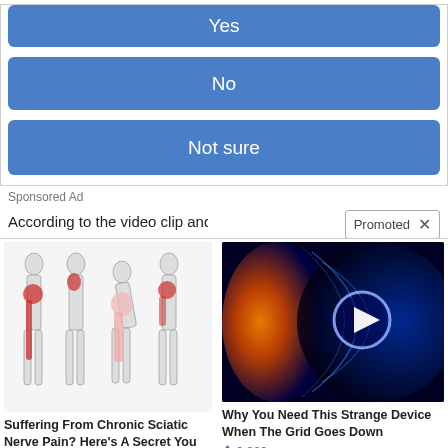Yes
No
Not sure
Sponsored Ad
Promoted X
According to the video clip and Positive...
[Figure (illustration): Medical illustration showing four human body silhouettes with red highlighted areas indicating sciatic nerve pain paths along the back, hip, and leg.]
Suffering From Chronic Sciatic Nerve Pain? Here's A Secret You Need To Know
92,028
[Figure (photo): Dramatic image of a solar flare or space energy event with orange fire and blue magnetic field lines, with a play button overlay in the center.]
Why You Need This Strange Device When The Grid Goes Down
6,329